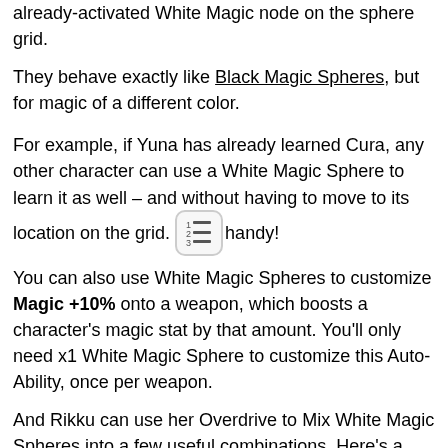already-activated White Magic node on the sphere grid.
They behave exactly like Black Magic Spheres, but for magic of a different color.
For example, if Yuna has already learned Cura, any other character can use a White Magic Sphere to learn it as well – and without having to move to its location on the grid. Handy!
You can also use White Magic Spheres to customize Magic +10% onto a weapon, which boosts a character's magic stat by that amount. You'll only need x1 White Magic Sphere to customize this Auto-Ability, once per weapon.
And Rikku can use her Overdrive to Mix White Magic Spheres into a few useful combinations. Here's a few that